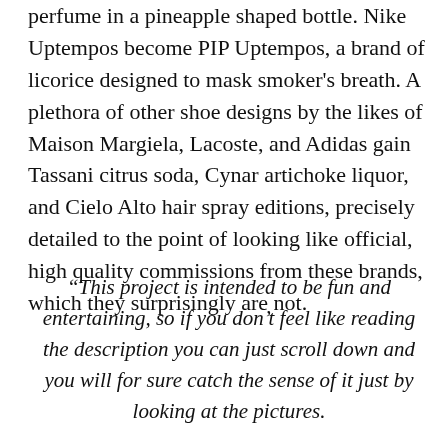perfume in a pineapple shaped bottle. Nike Uptempos become PIP Uptempos, a brand of licorice designed to mask smoker's breath. A plethora of other shoe designs by the likes of Maison Margiela, Lacoste, and Adidas gain Tassani citrus soda, Cynar artichoke liquor, and Cielo Alto hair spray editions, precisely detailed to the point of looking like official, high quality commissions from these brands, which they surprisingly are not.
“This project is intended to be fun and entertaining, so if you don’t feel like reading the description you can just scroll down and you will for sure catch the sense of it just by looking at the pictures.